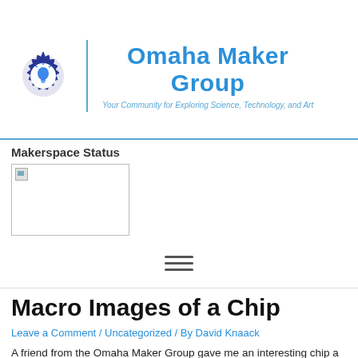[Figure (logo): Omaha Maker Group logo: gear with lightbulb, vertical blue divider line, brand name 'Omaha Maker Group' in bold blue, tagline 'Your Community for Exploring Science, Technology, and Art' in italic blue]
Makerspace Status
[Figure (photo): Broken/missing image placeholder in a bordered box]
[Figure (other): Hamburger menu icon (three horizontal lines)]
Macro Images of a Chip
Leave a Comment / Uncategorized / By David Knaack
A friend from the Omaha Maker Group gave me an interesting chip a while back. Apparently it is some kind of optically sensitive chip, it has a clear case.